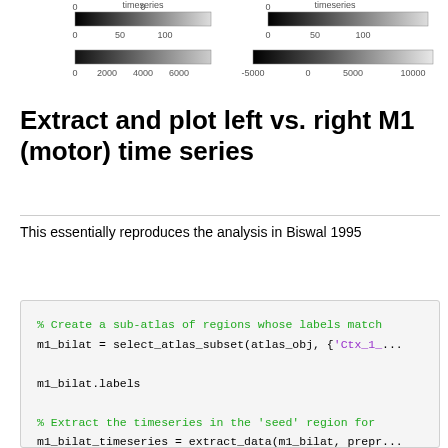[Figure (other): Two grayscale colorbar plots showing timeseries (0-100) with value ranges 0-6000 and -5000 to 10000]
Extract and plot left vs. right M1 (motor) time series
This essentially reproduces the analysis in Biswal 1995
% Create a sub-atlas of regions whose labels match
m1_bilat = select_atlas_subset(atlas_obj, {'Ctx_1_...

m1_bilat.labels

% Extract the timeseries in the 'seed' region for
m1_bilat_timeseries = extract_data(m1_bilat, prepr...